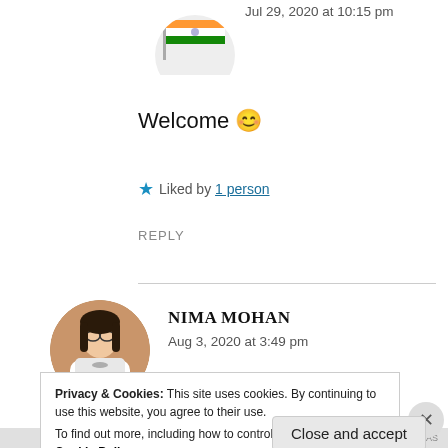[Figure (photo): Partial circular avatar with Indian flag image, cropped at top]
Jul 29, 2020 at 10:15 pm
Welcome 😊
★ Liked by 1 person
REPLY
[Figure (photo): Circular avatar photo of a woman with dark hair and glasses, smiling, wearing a white outfit]
NIMA MOHAN
Aug 3, 2020 at 3:49 pm
Privacy & Cookies: This site uses cookies. By continuing to use this website, you agree to their use.
To find out more, including how to control cookies, see here: Cookie Policy
Close and accept